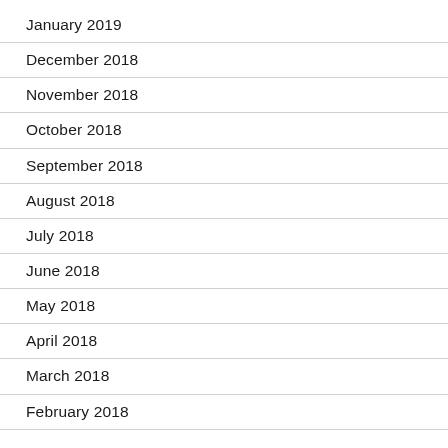January 2019
December 2018
November 2018
October 2018
September 2018
August 2018
July 2018
June 2018
May 2018
April 2018
March 2018
February 2018